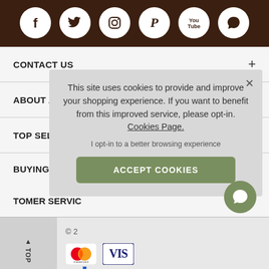[Figure (other): Social media icons bar with Facebook, Twitter, Instagram, Pinterest, YouTube, and chat icons on dark brown background]
CONTACT US
ABOUT A HUME
TOP SELLING BRANDS
BUYING GUIDES
TOMER SERVICE (CUSTOMER SERVICE)
This site uses cookies to provide and improve your shopping experience. If you want to benefit from this improved service, please opt-in. Cookies Page.
I opt-in to a better browsing experience
ACCEPT COOKIES
© 2
[Figure (logo): Mastercard payment logo with overlapping red and orange circles]
[Figure (logo): Visa payment logo]
TOP